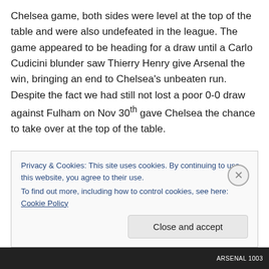Chelsea game, both sides were level at the top of the table and were also undefeated in the league. The game appeared to be heading for a draw until a Carlo Cudicini blunder saw Thierry Henry give Arsenal the win, bringing an end to Chelsea's unbeaten run. Despite the fact we had still not lost a poor 0-0 draw against Fulham on Nov 30th gave Chelsea the chance to take over at the top of the table.

At the turn of the year Arsenal had made it half way through the season without tasting defeat in the Premier
Privacy & Cookies: This site uses cookies. By continuing to use this website, you agree to their use.
To find out more, including how to control cookies, see here: Cookie Policy
Close and accept